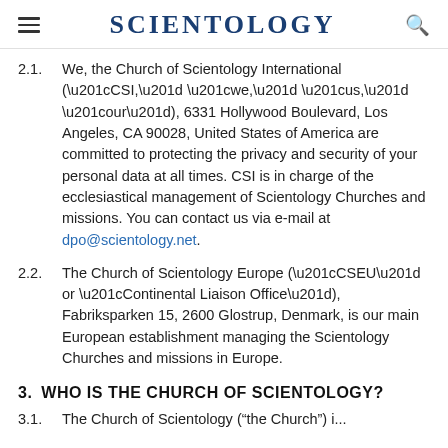SCIENTOLOGY
2.1. We, the Church of Scientology International (“CSI,” “we,” “us,” “our”), 6331 Hollywood Boulevard, Los Angeles, CA 90028, United States of America are committed to protecting the privacy and security of your personal data at all times. CSI is in charge of the ecclesiastical management of Scientology Churches and missions. You can contact us via e-mail at dpo@scientology.net.
2.2. The Church of Scientology Europe (“CSEU” or “Continental Liaison Office”), Fabriksparken 15, 2600 Glostrup, Denmark, is our main European establishment managing the Scientology Churches and missions in Europe.
3. WHO IS THE CHURCH OF SCIENTOLOGY?
3.1. The Church of Scientology (“the Church”) is...